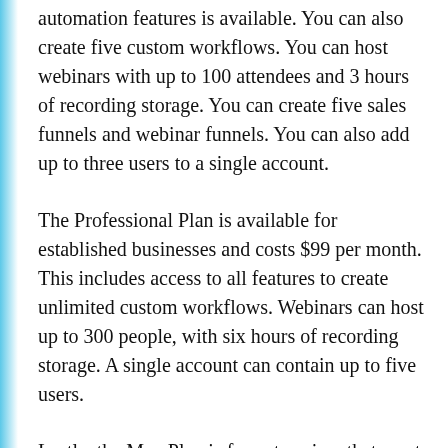automation features is available. You can also create five custom workflows. You can host webinars with up to 100 attendees and 3 hours of recording storage. You can create five sales funnels and webinar funnels. You can also add up to three users to a single account.
The Professional Plan is available for established businesses and costs $99 per month. This includes access to all features to create unlimited custom workflows. Webinars can host up to 300 people, with six hours of recording storage. A single account can contain up to five users.
Lastly, the Max Plan is for enterprises that want to run their operations using GetResponse. They access all features, dedicated customer support and include up to 10 users on a single account.